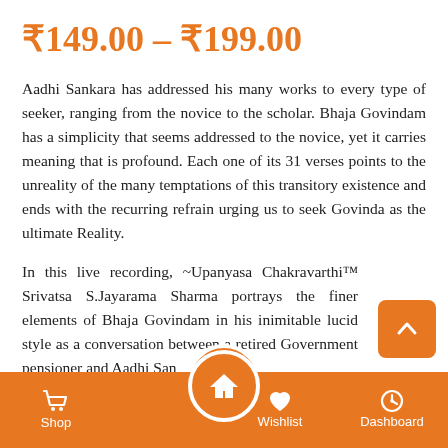₹149.00 – ₹199.00
Aadhi Sankara has addressed his many works to every type of seeker, ranging from the novice to the scholar. Bhaja Govindam has a simplicity that seems addressed to the novice, yet it carries meaning that is profound. Each one of its 31 verses points to the unreality of the many temptations of this transitory existence and ends with the recurring refrain urging us to seek Govinda as the ultimate Reality.
In this live recording, ~Upanyasa Chakravarthi™ Srivatsa S.Jayarama Sharma portrays the finer elements of Bhaja Govindam in his inimitable lucid style as a conversation between a retired Government pensioner and Aadhi San
Types : DVD
Shop  Home  Wishlist  Dashboard